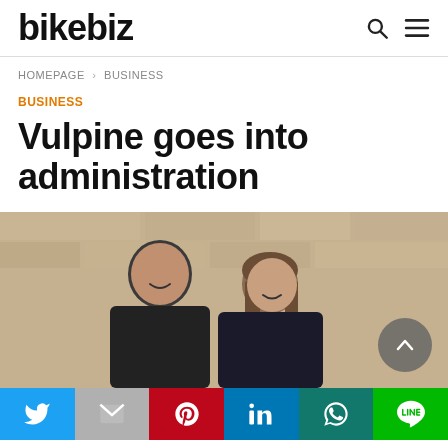bikebiz
HOMEPAGE > BUSINESS
BUSINESS
Vulpine goes into administration
[Figure (photo): Two people smiling in front of a stone wall — a man and a woman, both in dark jackets]
Social share bar: Twitter, Gmail, Pinterest, LinkedIn, WhatsApp, LINE